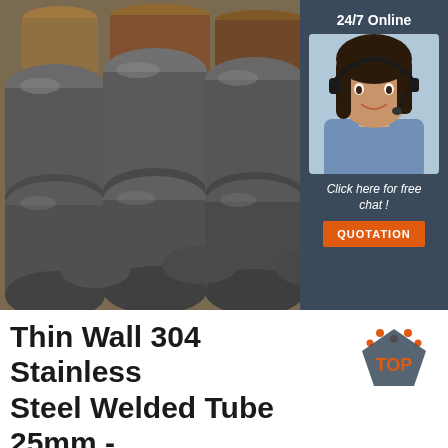[Figure (photo): Pile of stainless steel round bars/rods stacked together, viewed from the end showing circular cross-sections, gray metallic color. In the upper right corner, a customer service widget with '24/7 Online' label, a photo of a female customer service agent wearing a headset, 'Click here for free chat!' text, and an orange 'QUOTATION' button, all on a dark blue-gray background.]
Thin Wall 304 Stainless Steel Welded Tube 25mm - Buy